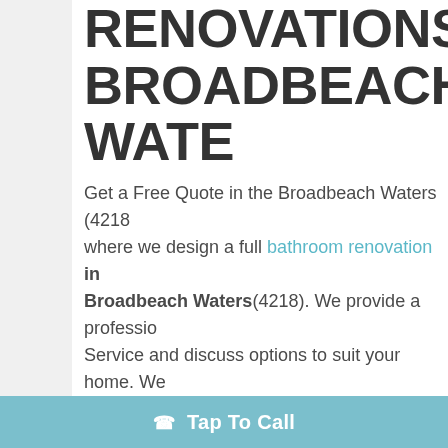RENOVATIONS BROADBEACH WATE
Get a Free Quote in the Broadbeach Waters (4218 where we design a full bathroom renovation in Broadbeach Waters(4218). We provide a professio Service and discuss options to suit your home. We selection of alternative layouts For your new bath design.
Call our team to book in your Broadbeach Waters bathrooms and ensuite renovation today for a fre evaluation and quote– We look forward to creatin dream bathroom/s
We take care of everything for you from:
Tap To Call